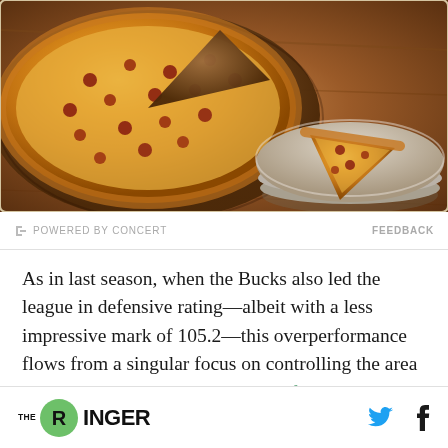[Figure (photo): A pizza on a wooden board with a slice on a stacked grey plate on a wooden table surface]
POWERED BY CONCERT   FEEDBACK
As in last season, when the Bucks also led the league in defensive rating—albeit with a less impressive mark of 105.2—this overperformance flows from a singular focus on controlling the area near the basket. The best at-rim defender this
THE RINGER